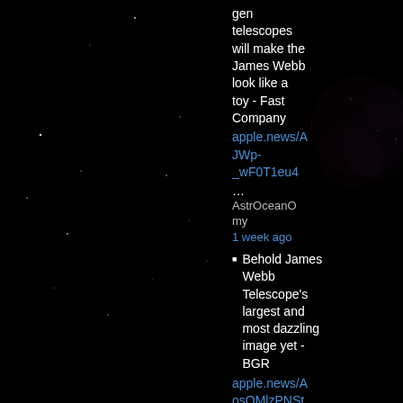[Figure (photo): Space/astronomy photo showing a dark starfield with scattered white stars and a faint pink/purple nebula in the upper right area against a black background.]
gen telescopes will make the James Webb look like a toy - Fast Company
apple.news/AJWp-_wF0T1eu4
…
AstrOceanOmy
1 week ago
Behold James Webb Telescope's largest and most dazzling image yet - BGR
apple.news/AosOMlzPNStuDp…
AstrOceanO